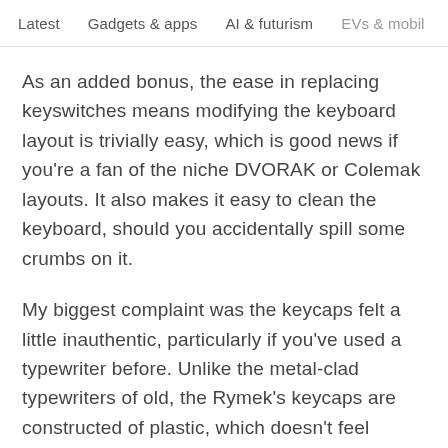Latest   Gadgets & apps   AI & futurism   EVs & mobil >
As an added bonus, the ease in replacing keyswitches means modifying the keyboard layout is trivially easy, which is good news if you're a fan of the niche DVORAK or Colemak layouts. It also makes it easy to clean the keyboard, should you accidentally spill some crumbs on it.
My biggest complaint was the keycaps felt a little inauthentic, particularly if you've used a typewriter before. Unlike the metal-clad typewriters of old, the Rymek's keycaps are constructed of plastic, which doesn't feel nearly as sturdy. Indeed, the entire keyboard is constructed out of plastic.
In fairness to the Rymek, it's supposed to be